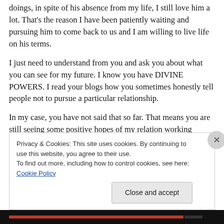doings, in spite of his absence from my life, I still love him a lot. That's the reason I have been patiently waiting and pursuing him to come back to us and I am willing to live life on his terms.
I just need to understand from you and ask you about what you can see for my future. I know you have DIVINE POWERS. I read your blogs how you sometimes honestly tell people not to pursue a particular relationship.
In my case, you have not said that so far. That means you are still seeing some positive hopes of my relation working
Privacy & Cookies: This site uses cookies. By continuing to use this website, you agree to their use.
To find out more, including how to control cookies, see here: Cookie Policy